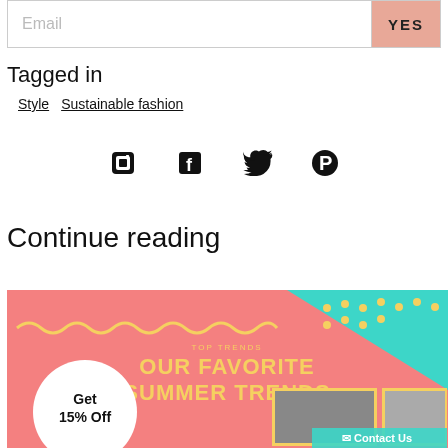[Figure (screenshot): Email subscription input bar with YES button in peach/salmon color]
Tagged in
Style   Sustainable fashion
[Figure (other): Social media icons: Facebook, Twitter, Pinterest]
Continue reading
[Figure (infographic): Summer trends promotional banner with pink and teal background, yellow wavy lines, text 'OUR FAVORITE SUMMER TRENDS', 'Get 15% Off' circle badge, fashion photos, and Contact Us button]